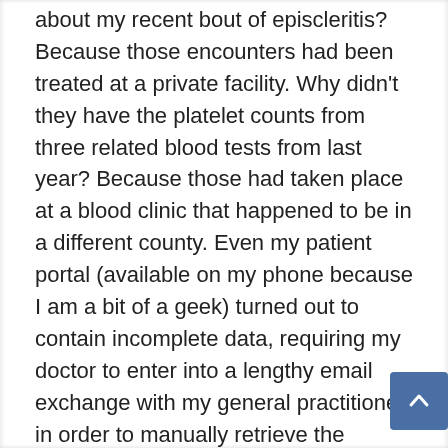about my recent bout of episcleritis? Because those encounters had been treated at a private facility. Why didn't they have the platelet counts from three related blood tests from last year? Because those had taken place at a blood clinic that happened to be in a different county. Even my patient portal (available on my phone because I am a bit of a geek) turned out to contain incomplete data, requiring my doctor to enter into a lengthy email exchange with my general practitioner in order to manually retrieve the relevant history.
After several hours, I was diagnosed with immune thrombocytopenic purpura, an autoimmune condition that attacks platelets and prevents blood from clotting. Now, every few days I make a one-hour round trip (plus 20...